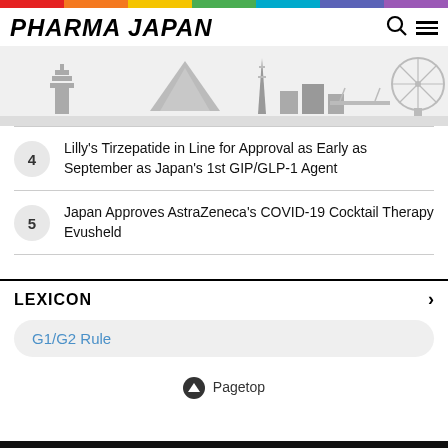PHARMA JAPAN
[Figure (illustration): Gray silhouette skyline of Tokyo including pagoda, Mt. Fuji, Tokyo Tower, buildings, bridge and Ferris wheel]
4 Lilly's Tirzepatide in Line for Approval as Early as September as Japan's 1st GIP/GLP-1 Agent
5 Japan Approves AstraZeneca's COVID-19 Cocktail Therapy Evusheld
LEXICON
G1/G2 Rule
Pagetop